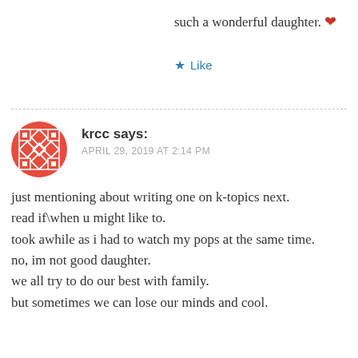such a wonderful daughter. ❤
★ Like
krcc says:
APRIL 29, 2019 AT 2:14 PM
just mentioning about writing one on k-topics next.
read if\when u might like to.
took awhile as i had to watch my pops at the same time.
no, im not good daughter.
we all try to do our best with family.
but sometimes we can lose our minds and cool.